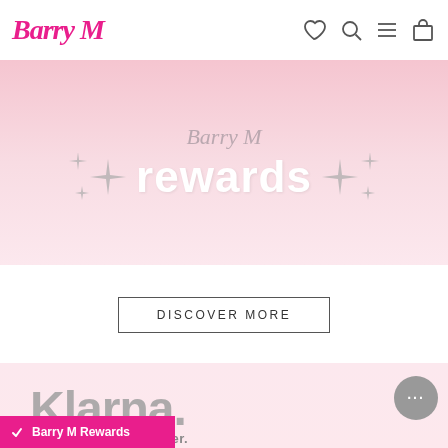Barry M
[Figure (screenshot): Pink gradient rewards banner with sparkle stars and cursive text 'Barry M' above 'rewards' in large white bold font]
DISCOVER MORE
[Figure (screenshot): Pink gradient Klarna banner with large grey Klarna. logo text and tagline 'No FOMO. Shop now. Pay later.' with a chat bubble icon]
Barry M Rewards